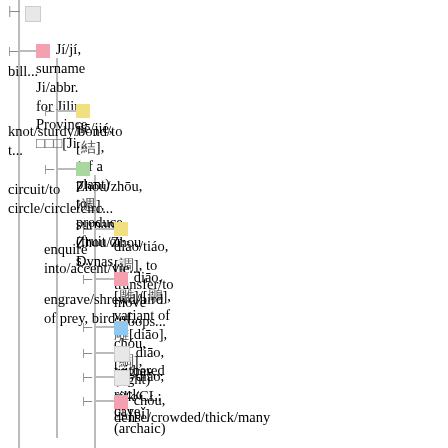□  (top entry, truncated)
□  Jí/jí, surname Ji/abbr. for Jilin Province 吉林[Ji... bill...
□  jiē/jié, [結], (of a plant) to produce (fruit or s... knot/sturdy/bond/to t...
□  Zhōu/zhōu, [週], surname Zhou/Zhou Dynas... circuit/to circle/circle/circ...
□  diào/tiáo, [調], to transfer/to move (troops... enquire into/accent/vie...
□  diāo, [雕]/[鵰], variant of 雕[diāo], to engrave/engrave/shrewd/bird of prey, bird of...
□  chóu, [綢], (light) silk/CL:匹[pǐ]
□  diāo, withered
□  diāo, rock cave (archaic)
□  chóu, dense/crowded/thick/many
□  diāo, [鯛], porgy/pagrus major
□  tì, energetic/exalted/magnanimous
□  chóu, forlorn/vexed/disappointed